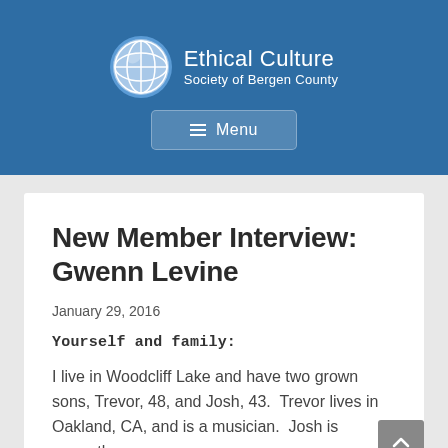Ethical Culture Society of Bergen County
New Member Interview: Gwenn Levine
January 29, 2016
Yourself and family:
I live in Woodcliff Lake and have two grown sons, Trevor, 48, and Josh, 43.  Trevor lives in Oakland, CA, and is a musician.  Josh is currently